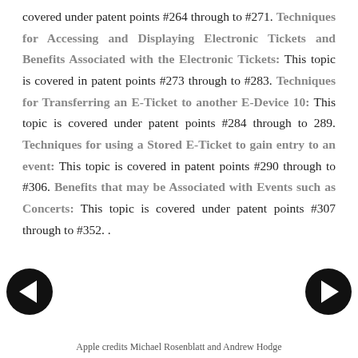covered under patent points #264 through to #271. Techniques for Accessing and Displaying Electronic Tickets and Benefits Associated with the Electronic Tickets: This topic is covered in patent points #273 through to #283. Techniques for Transferring an E-Ticket to another E-Device 10: This topic is covered under patent points #284 through to 289. Techniques for using a Stored E-Ticket to gain entry to an event: This topic is covered in patent points #290 through to #306. Benefits that may be Associated with Events such as Concerts: This topic is covered under patent points #307 through to #352. .
[Figure (other): Left navigation arrow button (circular black button with white left-pointing arrow)]
[Figure (other): Right navigation arrow button (circular black button with white right-pointing arrow)]
Apple credits Michael Rosenblatt and Andrew Hodge